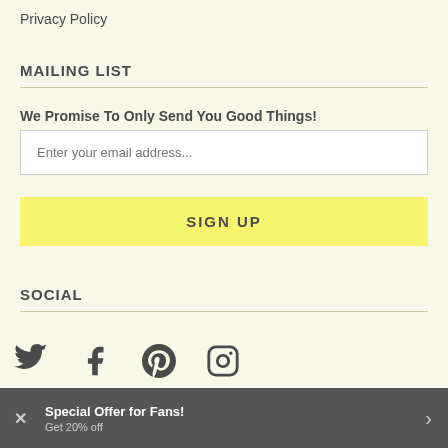Privacy Policy
MAILING LIST
We Promise To Only Send You Good Things!
Enter your email address...
SIGN UP
SOCIAL
[Figure (illustration): Social media icons: Twitter, Facebook, Pinterest, Instagram]
GET REWARDS
Special Offer for Fans!
Get 20% off